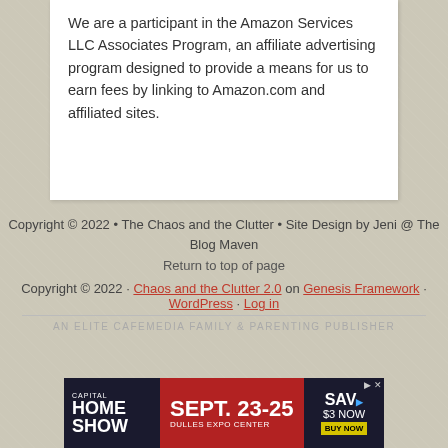We are a participant in the Amazon Services LLC Associates Program, an affiliate advertising program designed to provide a means for us to earn fees by linking to Amazon.com and affiliated sites.
Copyright © 2022 • The Chaos and the Clutter • Site Design by Jeni @ The Blog Maven
Return to top of page
Copyright © 2022 · Chaos and the Clutter 2.0 on Genesis Framework · WordPress · Log in
AN ELITE CAFEMEDIA FAMILY & PARENTING PUBLISHER
[Figure (other): Capital Home Show advertisement banner: SEPT. 23-25, Dulles Expo Center, Save $3 Now, Buy Now]